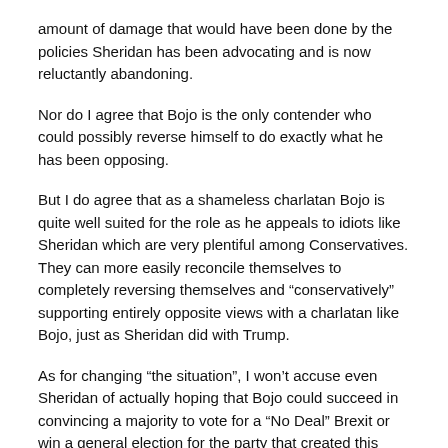amount of damage that would have been done by the policies Sheridan has been advocating and is now reluctantly abandoning.
Nor do I agree that Bojo is the only contender who could possibly reverse himself to do exactly what he has been opposing.
But I do agree that as a shameless charlatan Bojo is quite well suited for the role as he appeals to idiots like Sheridan which are very plentiful among Conservatives. They can more easily reconcile themselves to completely reversing themselves and “conservatively” supporting entirely opposite views with a charlatan like Bojo, just as Sheridan did with Trump.
As for changing “the situation”, I won’t accuse even Sheridan of actually hoping that Bojo could succeed in convincing a majority to vote for a “No Deal” Brexit or win a general election for the party that created this mess. As a fellow charlatan he is fully aware that his outrage about such a violation of democracy as asking people to vote on the actual situation rather than the lies Bojo and Sheridan